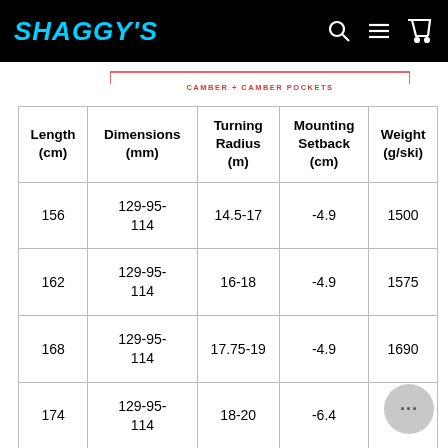SHAGGY'S
CAMBER + CAMBER POCKETS
| Length (cm) | Dimensions (mm) | Turning Radius (m) | Mounting Setback (cm) | Weight (g/ski) |
| --- | --- | --- | --- | --- |
| 156 | 129-95-114 | 14.5-17 | -4.9 | 1500 |
| 162 | 129-95-114 | 16-18 | -4.9 | 1575 |
| 168 | 129-95-114 | 17.75-19 | -4.9 | 1690 |
| 174 | 129-95-114 | 18-20 | -6.4 | 17… |